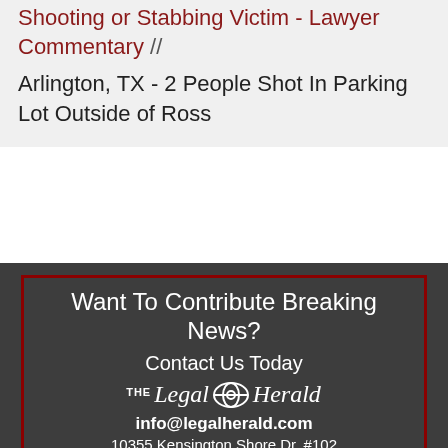Shooting or Stabbing Victim - Lawyer Commentary //
Arlington, TX - 2 People Shot In Parking Lot Outside of Ross
[Figure (infographic): Dark gray advertisement box with dark red border for The Legal Herald. Contains text: 'Want To Contribute Breaking News? Contact Us Today' with The Legal Herald logo, email info@legalherald.com, and address 10355 Kensington Shore Dr. #102]